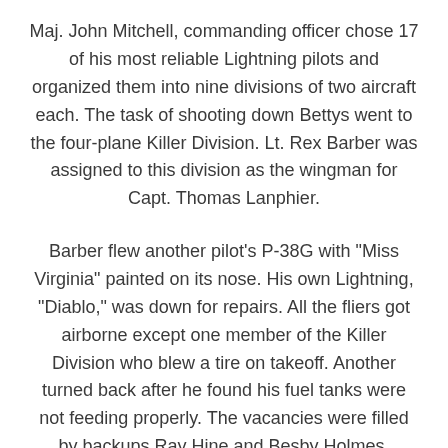Maj. John Mitchell, commanding officer chose 17 of his most reliable Lightning pilots and organized them into nine divisions of two aircraft each. The task of shooting down Bettys went to the four-plane Killer Division. Lt. Rex Barber was assigned to this division as the wingman for Capt. Thomas Lanphier.
Barber flew another pilot's P-38G with "Miss Virginia" painted on its nose. His own Lightning, "Diablo," was down for repairs. All the fliers got airborne except one member of the Killer Division who blew a tire on takeoff. Another turned back after he found his fuel tanks were not feeding properly. The vacancies were filled by backups Ray Hine and Besby Holmes.